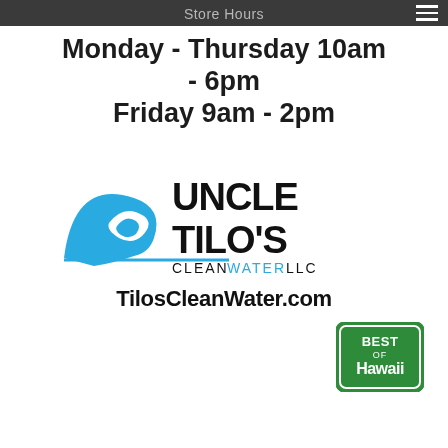Store Hours
Monday - Thursday 10am - 6pm
Friday 9am - 2pm
[Figure (logo): Uncle Tilo's Clean Water LLC logo with blue wave graphic and black bold text]
TilosCleanWater.com
[Figure (logo): Best of Hawaii badge/seal in green and white]